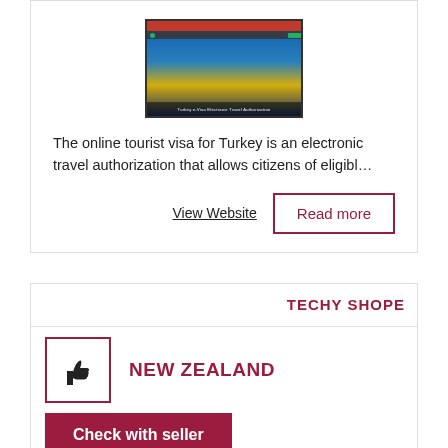[Figure (screenshot): Screenshot of Turkey e-Visa (Electronic Travel Authorization) website with red header bar, dark navigation, and scenic background image]
The online tourist visa for Turkey is an electronic travel authorization that allows citizens of eligibl…
View Website
Read more
TECHY SHOPE
NEW ZEALAND
Check with seller